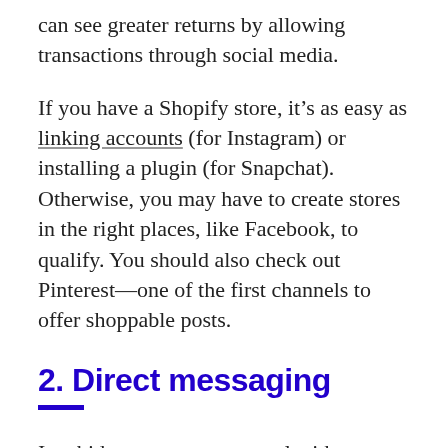can see greater returns by allowing transactions through social media.
If you have a Shopify store, it’s as easy as linking accounts (for Instagram) or installing a plugin (for Snapchat). Otherwise, you may have to create stores in the right places, like Facebook, to qualify. You should also check out Pinterest—one of the first channels to offer shoppable posts.
2. Direct messaging
In a bid to get more personal with customers,